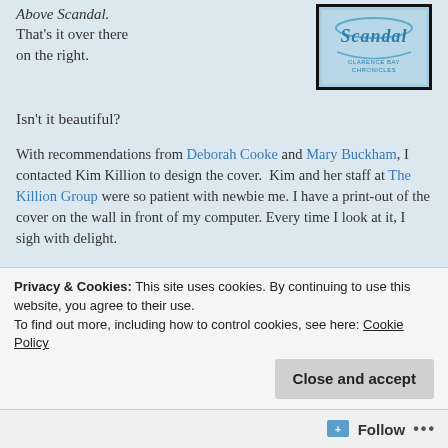Above Scandal. That’s it over there on the right.
[Figure (illustration): Book cover for 'Scandal' from the Clarence Bay Chronicles series, with blue script lettering on a light background, black border.]
Isn’t it beautiful?
With recommendations from Deborah Cooke and Mary Buckham, I contacted Kim Killion to design the cover. Kim and her staff at The Killion Group were so patient with newbie me. I have a print-out of the cover on the wall in front of my computer. Every time I look at it, I sigh with delight.
Privacy & Cookies: This site uses cookies. By continuing to use this website, you agree to their use.
To find out more, including how to control cookies, see here: Cookie Policy
Close and accept
Follow